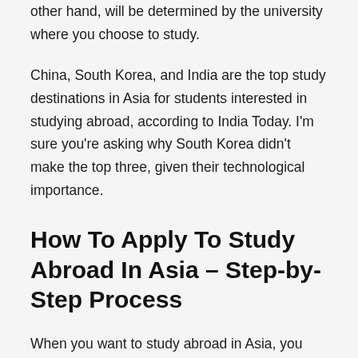other hand, will be determined by the university where you choose to study.
China, South Korea, and India are the top study destinations in Asia for students interested in studying abroad, according to India Today. I'm sure you're asking why South Korea didn't make the top three, given their technological importance.
How To Apply To Study Abroad In Asia – Step-by-Step Process
When you want to study abroad in Asia, you need to ensure you follow the application process duly. There are about six steps which include: